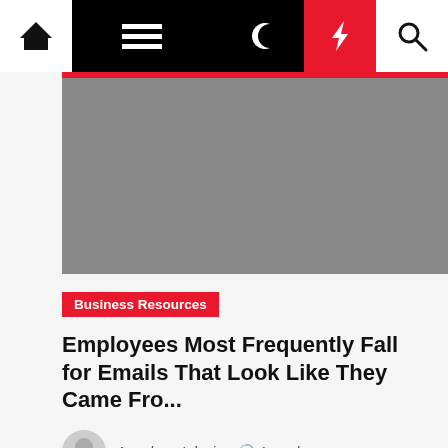Navigation bar with home, menu, dark mode, lightning, and search icons
[Figure (photo): Gray image placeholder for article header photo]
Business Resources
Employees Most Frequently Fall for Emails That Look Like They Came Fro...
Angelena Iglesia  4 weeks ago